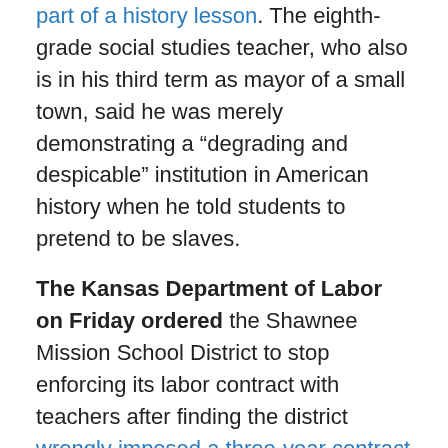part of a history lesson. The eighth-grade social studies teacher, who also is in his third term as mayor of a small town, said he was merely demonstrating a “degrading and despicable” institution in American history when he told students to pretend to be slaves.
The Kansas Department of Labor on Friday ordered the Shawnee Mission School District to stop enforcing its labor contract with teachers after finding the district wrongly imposed a three-year contract that wasn’t negotiated. The department’s ruling said the three-year contract was not a good-faith negotiation and was done to interfere with the teachers’ rights.
An accrediting agency stripped of its powers in 2016, but reauthorized in 2018, apparently gave its approval to a school in South Dakota that doesn’t exist. A USA Today investigation found that Pemper National University...